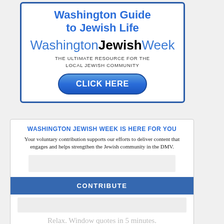[Figure (infographic): Washington Jewish Week advertisement box with title 'Washington Guide to Jewish Life', logo 'WashingtonJewishWeek', tagline 'THE ULTIMATE RESOURCE FOR THE LOCAL JEWISH COMMUNITY', and a blue CLICK HERE button]
WASHINGTON JEWISH WEEK IS HERE FOR YOU
Your voluntary contribution supports our efforts to deliver content that engages and helps strengthen the Jewish community in the DMV.
CONTRIBUTE
Relax. Window quotes in 5 minutes.